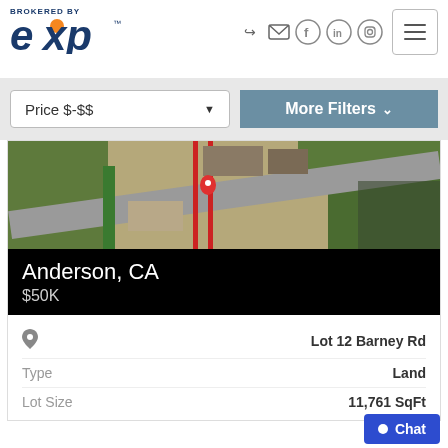[Figure (logo): eXp Realty logo - brokered by eXp Realty in blue with orange accent]
[Figure (infographic): Navigation icons: login arrow, mail, facebook, linkedin, instagram circles; hamburger menu button]
Price $-$$
More Filters
[Figure (photo): Aerial satellite view of property lot at Lot 12 Barney Rd, Anderson CA, showing roads, buildings and land parcel with location pin marker]
Anderson, CA
$50K
Lot 12 Barney Rd
Type
Land
Lot Size
11,761 SqFt
Chat